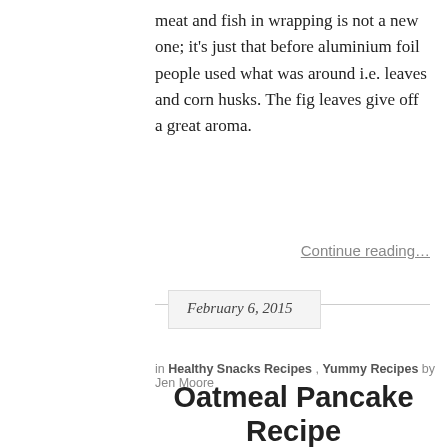meat and fish in wrapping is not a new one; it's just that before aluminium foil people used what was around i.e. leaves and corn husks. The fig leaves give off a great aroma.
Continue reading…
February 6, 2015
in Healthy Snacks Recipes , Yummy Recipes by Jen Moore
Oatmeal Pancake Recipe
[Figure (photo): Photo of oatmeal pancakes with green handwritten text overlay reading 'Oatmeal Pancake Recipe']